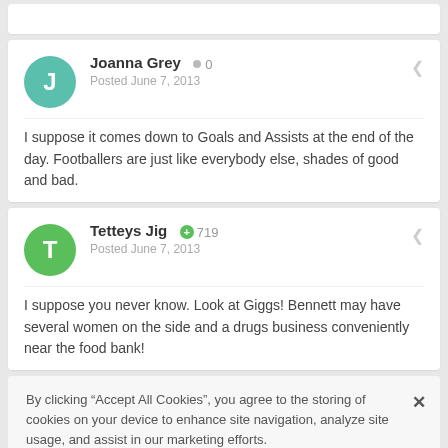Joanna Grey  0
Posted June 7, 2013

I suppose it comes down to Goals and Assists at the end of the day. Footballers are just like everybody else, shades of good and bad.
Tetteys Jig  +719
Posted June 7, 2013

I suppose you never know. Look at Giggs! Bennett may have several women on the side and a drugs business conveniently near the food bank!
By clicking "Accept All Cookies", you agree to the storing of cookies on your device to enhance site navigation, analyze site usage, and assist in our marketing efforts.